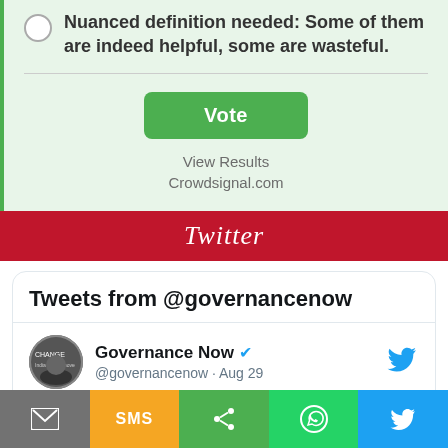Nuanced definition needed: Some of them are indeed helpful, some are wasteful.
[Figure (screenshot): Vote button (green rounded rectangle)]
View Results
Crowdsignal.com
Twitter
Tweets from @governancenow
Governance Now @governancenow · Aug 29
"India will see the benefits of #digital payments for a long time" @MuraliRaghava13, author of 'Riding the